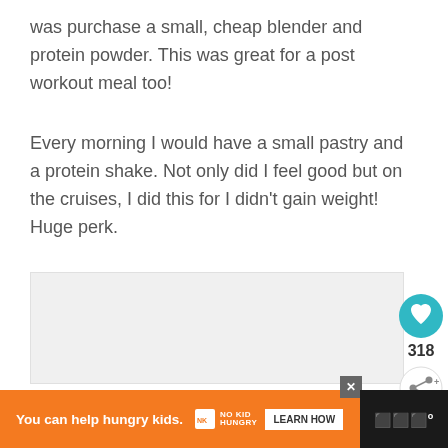was purchase a small, cheap blender and protein powder. This was great for a post workout meal too!
Every morning I would have a small pastry and a protein shake. Not only did I feel good but on the cruises, I did this for I didn't gain weight! Huge perk.
[Figure (other): Light gray placeholder image area]
[Figure (infographic): Sidebar UI elements: teal heart/like button with count 318, share button, and up arrow button]
[Figure (infographic): Orange advertisement bar at bottom: 'You can help hungry kids.' with No Kid Hungry logo and LEARN HOW button, black bar on right with app icon]